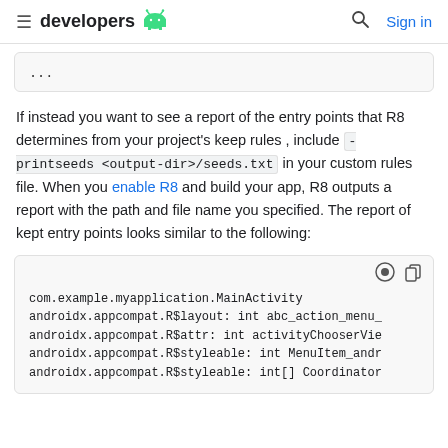developers [android logo] [search] Sign in
...
If instead you want to see a report of the entry points that R8 determines from your project's keep rules , include -printseeds <output-dir>/seeds.txt in your custom rules file. When you enable R8 and build your app, R8 outputs a report with the path and file name you specified. The report of kept entry points looks similar to the following:
com.example.myapplication.MainActivity
androidx.appcompat.R$layout: int abc_action_menu_
androidx.appcompat.R$attr: int activityChooserVie
androidx.appcompat.R$styleable: int MenuItem_andr
androidx.appcompat.R$styleable: int[] Coordinator